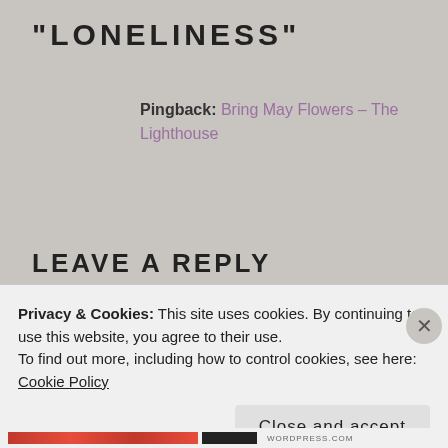"LONELINESS"
Pingback: Bring May Flowers – The Lighthouse
LEAVE A REPLY
Your email address will not be published. Required fields are marked *
Comment *
Privacy & Cookies: This site uses cookies. By continuing to use this website, you agree to their use.
To find out more, including how to control cookies, see here: Cookie Policy
Close and accept